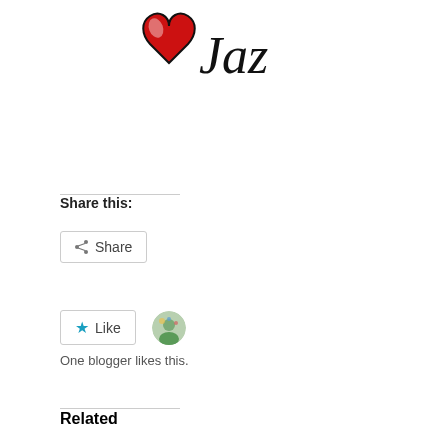[Figure (illustration): A red hand-drawn heart with a highlight, next to handwritten cursive text 'Jaz' in black ink — a blog signature/logo at the top of the page.]
Share this:
Share
Like
One blogger likes this.
Related